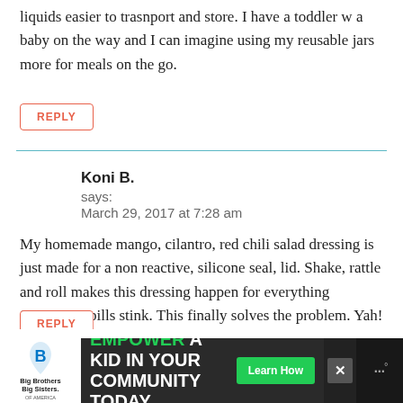liquids easier to trasnport and store. I have a toddler w a baby on the way and I can imagine using my reusable jars more for meals on the go.
REPLY
Koni B.
says:
March 29, 2017 at 7:28 am
My homemade mango, cilantro, red chili salad dressing is just made for a non reactive, silicone seal, lid. Shake, rattle and roll makes this dressing happen for everything Summer! Spills stink. This finally solves the problem. Yah!
[Figure (other): Advertisement banner: Big Brothers Big Sisters logo on left, green text 'EMPOWER A KID IN YOUR COMMUNITY TODAY.' with a green Learn How button, and a brand logo on the right with dots and degree symbol]